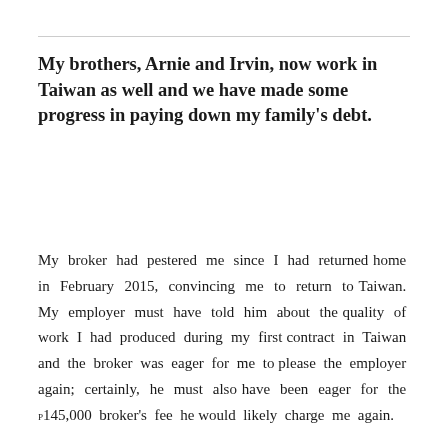My brothers, Arnie and Irvin, now work in Taiwan as well and we have made some progress in paying down my family's debt.
My broker had pestered me since I had returned home in February 2015, convincing me to return to Taiwan. My employer must have told him about the quality of work I had produced during my first contract in Taiwan and the broker was eager for me to please the employer again; certainly, he must also have been eager for the ₱145,000 broker's fee he would likely charge me again.